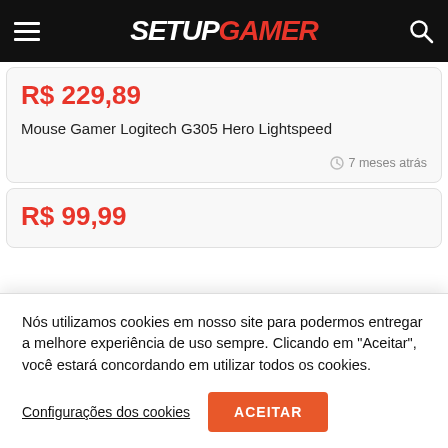SETUPGAMER
R$ 229,89
Mouse Gamer Logitech G305 Hero Lightspeed
7 meses atrás
R$ 99,99
Nós utilizamos cookies em nosso site para podermos entregar a melhore experiência de uso sempre. Clicando em "Aceitar", você estará concordando em utilizar todos os cookies.
Configurações dos cookies
ACEITAR